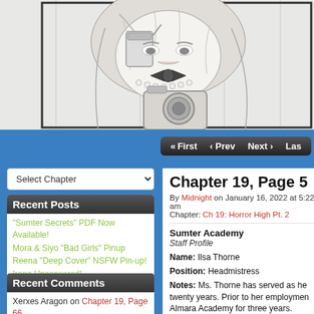[Figure (illustration): Pencil sketch illustration of a young woman with long hair drinking from a cup/jar through a straw, wearing a bow tie and pearl necklace, holding a camera. Black and white line art style.]
« First  ‹ Prev  Next ›  Las
Select Chapter
Chapter 19, Page 5
By Midnight on January 16, 2022 at 5:22 am
Chapter: Ch 19: Horror High Pt. 2
Sumter Academy
Staff Profile

Name: Ilsa Thorne

Position: Headmistress

Notes: Ms. Thorne has served as he twenty years. Prior to her employmen Almara Academy for three years.
Recent Posts
"Sumter Secrets" PDF Now Available!
Mora & Siyo "Bad Girls" Pinup
Reena "Deep Cover" NSFW Pin-up!
Irene Uncensored!
Danger Zone Onesies "Trick or Treats!"
Recent Comments
Xerxes Aragon on Chapter 19, Page 66
Donathan J. Rogers on Chapter 19, Page 60